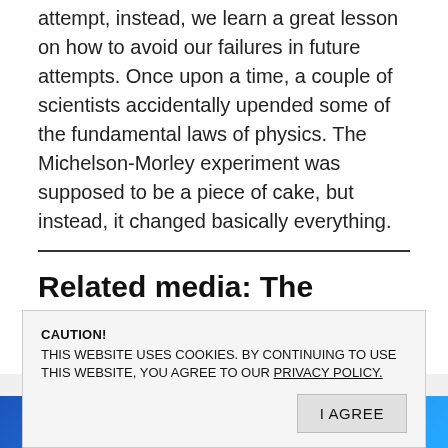attempt, instead, we learn a great lesson on how to avoid our failures in future attempts. Once upon a time, a couple of scientists accidentally upended some of the fundamental laws of physics. The Michelson-Morley experiment was supposed to be a piece of cake, but instead, it changed basically everything.
Related media: The Greatest Failed Experiment Ever
CAUTION!
THIS WEBSITE USES COOKIES. BY CONTINUING TO USE THIS WEBSITE, YOU AGREE TO OUR PRIVACY POLICY.
[Figure (screenshot): Blue banner strip at the bottom showing partial text 'EXPERIMEN' in white bold letters with a figure/person visible]